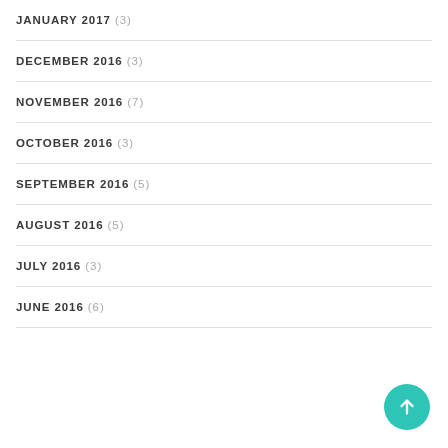JANUARY 2017 (3)
DECEMBER 2016 (3)
NOVEMBER 2016 (7)
OCTOBER 2016 (3)
SEPTEMBER 2016 (5)
AUGUST 2016 (5)
JULY 2016 (3)
JUNE 2016 (6)